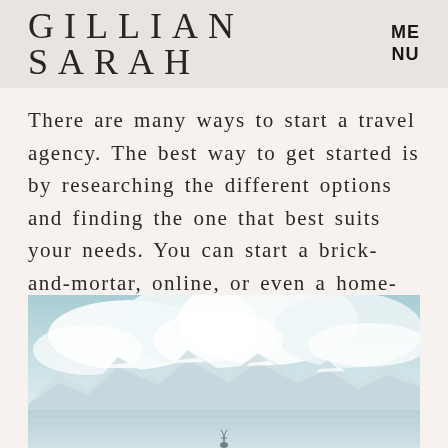GILLIAN SARAH
There are many ways to start a travel agency. The best way to get started is by researching the different options and finding the one that best suits your needs. You can start a brick-and-mortar, online, or even a home-based agency.
[Figure (photo): A scenic landscape photo showing a calm lake or sea with snow-capped mountains in the background under a partly cloudy sky with blue-teal tones. A small silhouette figure is visible at the bottom.]